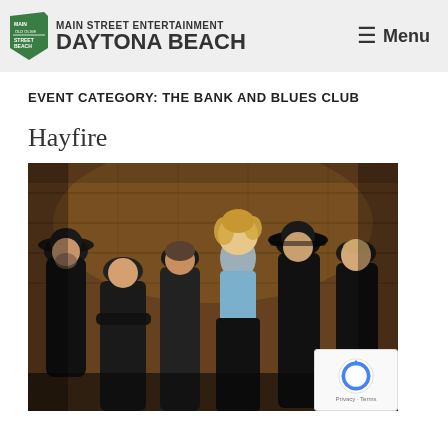MAIN STREET ENTERTAINMENT DAYTONA BEACH  ≡ Menu
EVENT CATEGORY: THE BANK AND BLUES CLUB
Hayfire
[Figure (photo): Group photo of the Hayfire band — six members dressed mostly in black, including cowboy hats, posing in what appears to be a rustic barn setting. A woman with curly blonde hair wearing a blue top stands in the center.]